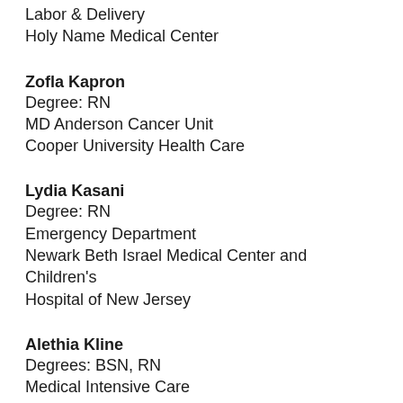Labor & Delivery
Holy Name Medical Center
Zofla Kapron
Degree: RN
MD Anderson Cancer Unit
Cooper University Health Care
Lydia Kasani
Degree: RN
Emergency Department
Newark Beth Israel Medical Center and Children's Hospital of New Jersey
Alethia Kline
Degrees: BSN, RN
Medical Intensive Care
Jefferson Health
Maureen Kovchok
Degree: RN